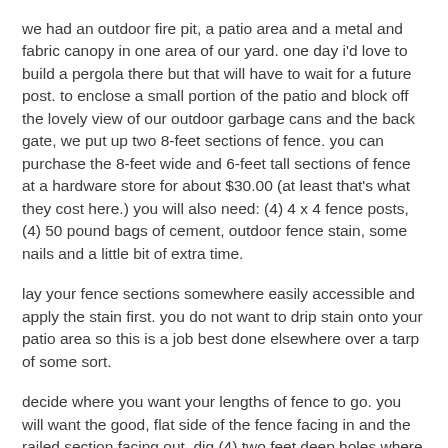we had an outdoor fire pit, a patio area and a metal and fabric canopy in one area of our yard. one day i'd love to build a pergola there but that will have to wait for a future post. to enclose a small portion of the patio and block off the lovely view of our outdoor garbage cans and the back gate, we put up two 8-feet sections of fence. you can purchase the 8-feet wide and 6-feet tall sections of fence at a hardware store for about $30.00 (at least that's what they cost here.) you will also need: (4) 4 x 4 fence posts, (4) 50 pound bags of cement, outdoor fence stain, some nails and a little bit of extra time.
lay your fence sections somewhere easily accessible and apply the stain first. you do not want to drip stain onto your patio area so this is a job best done elsewhere over a tarp of some sort.
decide where you want your lengths of fence to go. you will want the good, flat side of the fence facing in and the railed section facing out. dig (4) two feet deep holes where you will place your fence posts. these holes need to be right next to